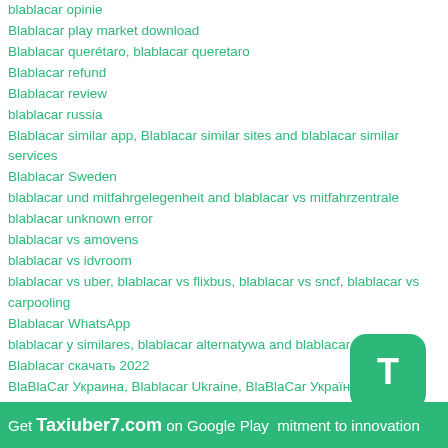blablacar opinie
Blablacar play market download
Blablacar querétaro, blablacar queretaro
Blablacar refund
Blablacar review
blablacar russia
Blablacar similar app, Blablacar similar sites and blablacar similar services
Blablacar Sweden
blablacar und mitfahrgelegenheit and blablacar vs mitfahrzentrale
blablacar unknown error
blablacar vs amovens
blablacar vs idvroom
blablacar vs uber, blablacar vs flixbus, blablacar vs sncf, blablacar vs carpooling
Blablacar WhatsApp
blablacar y similares, blablacar alternatywa and blablacar equivalen
Blablacar скачать 2022
BlaBlaCar Украина, Blablacar Ukraine, BlaBlaCar Україна
Carpooling app
Convert Jpg to text
Coronavirus Covid-19 Online map 2021
Covert Pdf to Doc, Online Covert Pdf to Docx
Get Taxiuber7.com on Google Play mitment to innovation
CURRENT AIR QUALITY